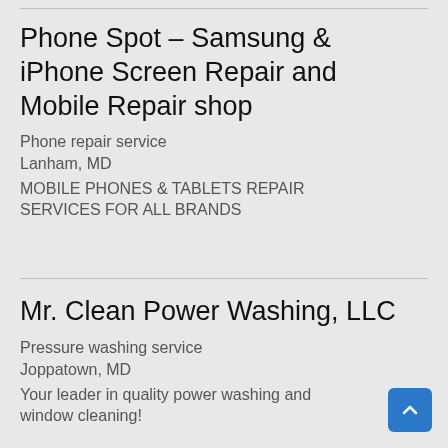Phone Spot – Samsung & iPhone Screen Repair and Mobile Repair shop
Phone repair service
Lanham, MD
MOBILE PHONES & TABLETS REPAIR SERVICES FOR ALL BRANDS
Mr. Clean Power Washing, LLC
Pressure washing service
Joppatown, MD
Your leader in quality power washing and window cleaning!